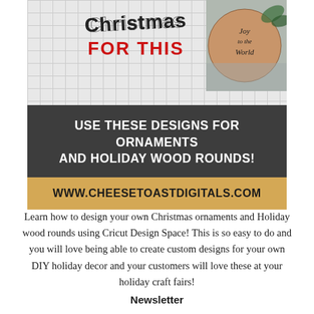[Figure (illustration): Top portion of a promotional image showing 'Christmas FOR THIS' text with a handlettered style on a grid background, and a circular wood ornament with 'Joy to the World' text on the right side]
[Figure (infographic): Dark gray banner reading 'USE THESE DESIGNS FOR ORNAMENTS AND HOLIDAY WOOD ROUNDS!' above a gold/tan banner with 'www.cheesetoastdigitals.com']
Learn how to design your own Christmas ornaments and Holiday wood rounds using Cricut Design Space! This is so easy to do and you will love being able to create custom designs for your own DIY holiday decor and your customers will love these at your holiday craft fairs!
Newsletter